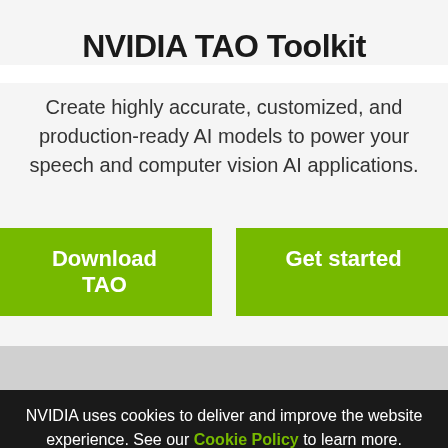NVIDIA TAO Toolkit
Create highly accurate, customized, and production-ready AI models to power your speech and computer vision AI applications.
[Figure (screenshot): Two green call-to-action buttons: 'Download TAO' and 'Get started']
What Is the NVIDIA TAO Toolkit?
NVIDIA uses cookies to deliver and improve the website experience. See our Cookie Policy to learn more.
Creating an AI/machine learning model from scratch requires mountains of data and an army of data scientists. Now, you
[Figure (screenshot): Cookie consent buttons: 'Cookies Settings' and 'Accept All Cookies']